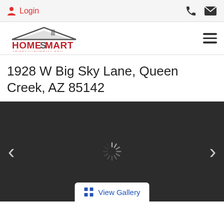Login
[Figure (logo): HomeSmart ArizonaHomes411.com logo with roof/house silhouette graphic]
1928 W Big Sky Lane, Queen Creek, AZ 85142
[Figure (photo): Dark/loading property photo carousel with left and right navigation arrows and a spinning loading indicator in the center]
View Gallery